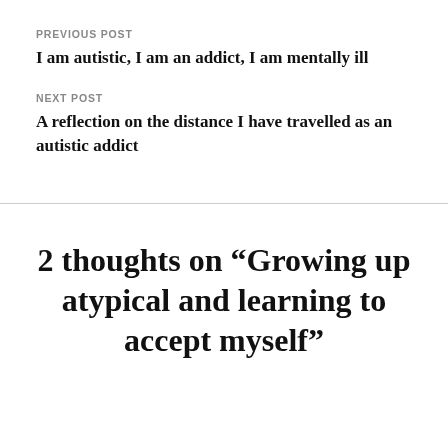PREVIOUS POST
I am autistic, I am an addict, I am mentally ill
NEXT POST
A reflection on the distance I have travelled as an autistic addict
2 thoughts on “Growing up atypical and learning to accept myself”